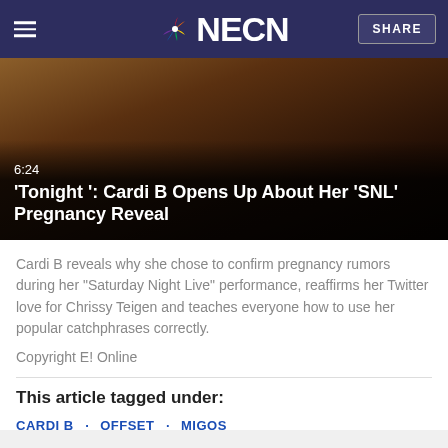NECN
[Figure (screenshot): Video thumbnail showing a person in a courtroom setting with overlay text '6:24' and title "'Tonight': Cardi B Opens Up About Her 'SNL' Pregnancy Reveal"]
Cardi B reveals why she chose to confirm pregnancy rumors during her "Saturday Night Live" performance, reaffirms her Twitter love for Chrissy Teigen and teaches everyone how to use her popular catchphrases correctly.
Copyright E! Online
This article tagged under:
CARDI B · OFFSET · MIGOS